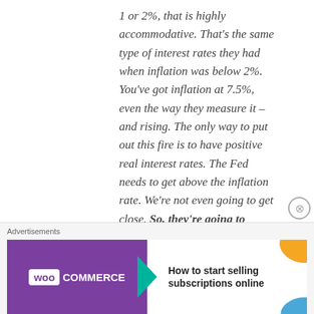1 or 2%, that is highly accommodative. That's the same type of interest rates they had when inflation was below 2%. You've got inflation at 7.5%, even the way they measure it – and rising. The only way to put out this fire is to have positive real interest rates. The Fed needs to get above the inflation rate. We're not even going to get close. So, they're going to continue to pour gasoline
[Figure (other): WooCommerce advertisement banner: 'How to start selling subscriptions online']